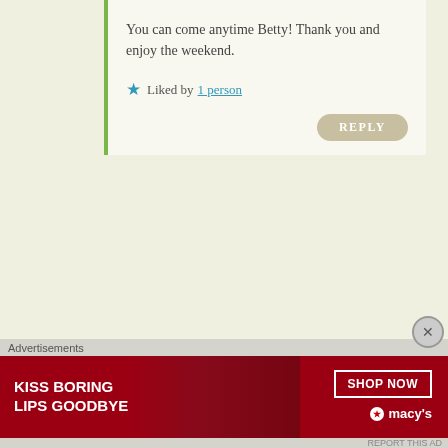You can come anytime Betty! Thank you and enjoy the weekend.
★ Liked by 1 person
REPLY
Carla
March 19, 2021 at 6:59 PM
Looks like a great sauce, Diane. How was the lobster ravioli? Would you buy it again?
★ Liked by 1 person
REPLY
indianeskitchen
Advertisements
[Figure (other): Macy's advertisement banner: KISS BORING LIPS GOODBYE with SHOP NOW button and Macy's star logo on red background]